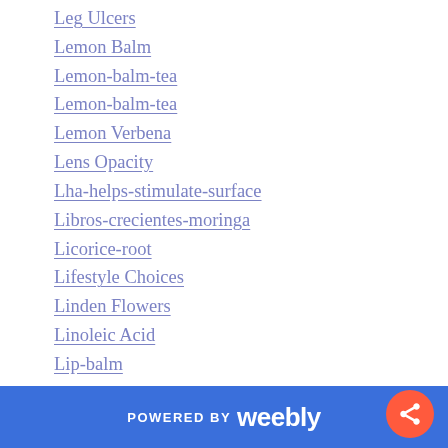Leg Ulcers
Lemon Balm
Lemon-balm-tea
Lemon-balm-tea
Lemon Verbena
Lens Opacity
Lha-helps-stimulate-surface
Libros-crecientes-moringa
Licorice-root
Lifestyle Choices
Linden Flowers
Linoleic Acid
Lip-balm
Lip-color
Lip-gloss
Lip-liner
Lipoprotein
POWERED BY weebly